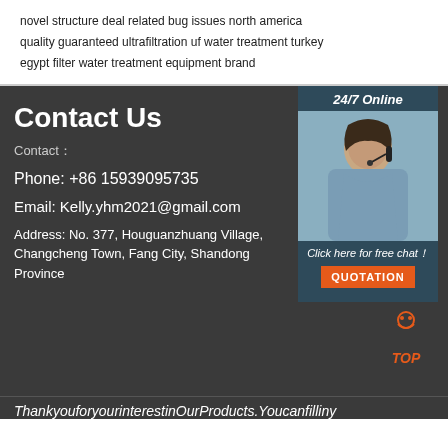novel structure deal related bug issues north america
quality guaranteed ultrafiltration uf water treatment turkey
egypt filter water treatment equipment brand
Contact Us
Contact：
Phone: +86 15939095735
Email: Kelly.yhm2021@gmail.com
Address: No. 377, Houguanzhuang Village, Changcheng Town, Fang City, Shandong Province
[Figure (photo): Customer service agent with headset, smiling. 24/7 Online label above. 'Click here for free chat!' text below. Orange QUOTATION button.]
ThankyouforyourinterestinOurProducts.Youcanfilliny